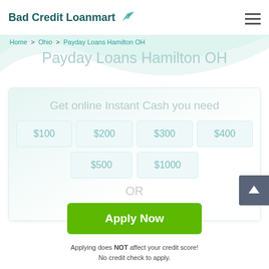Bad Credit Loanmart
Home > Ohio > Payday Loans Hamilton OH
Payday Loans Hamilton OH
Get online Instant Cash you need
$100
$200
$300
$400
$500
$1000
OR
Apply Now
Applying does NOT affect your credit score!
No credit check to apply.